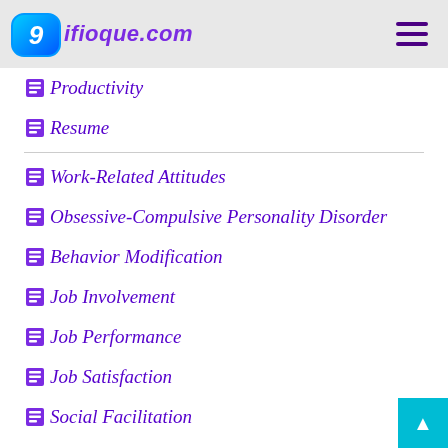9ifioque.com
Productivity
Resume
Work-Related Attitudes
Obsessive-Compulsive Personality Disorder
Behavior Modification
Job Involvement
Job Performance
Job Satisfaction
Social Facilitation
Social Loafing